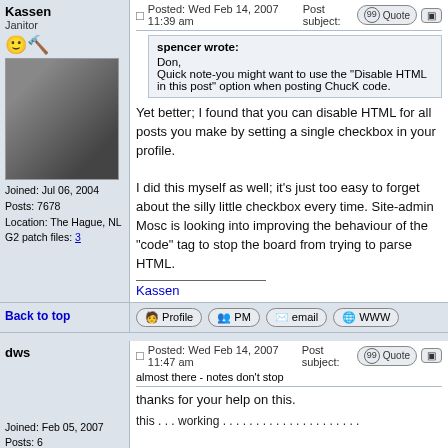Kassen
Janitor
Joined: Jul 06, 2004
Posts: 7678
Location: The Hague, NL
G2 patch files: 3
Posted: Wed Feb 14, 2007 11:39 am   Post subject:
spencer wrote:
Don,
Quick note-you might want to use the "Disable HTML in this post" option when posting ChucK code.
Yet better; I found that you can disable HTML for all posts you make by setting a single checkbox in your profile.

I did this myself as well; it's just too easy to forget about the silly little checkbox every time. Site-admin Mosc is looking into improving the behaviour of the "code" tag to stop the board from trying to parse HTML.

Kassen
Back to top
Profile  PM  email  WWW
dws
Posted: Wed Feb 14, 2007 11:47 am   Post subject: almost there - notes don't stop
Joined: Feb 05, 2007
Posts: 6
Location: Toronto, Canada
thanks for your help on this.